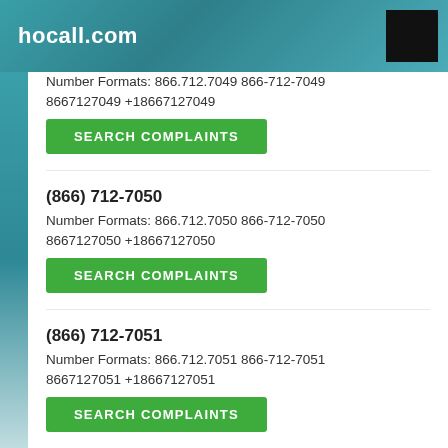hocall.com
Number Formats: 866.712.7049 866-712-7049 8667127049 +18667127049
SEARCH COMPLAINTS
(866) 712-7050
Number Formats: 866.712.7050 866-712-7050 8667127050 +18667127050
SEARCH COMPLAINTS
(866) 712-7051
Number Formats: 866.712.7051 866-712-7051 8667127051 +18667127051
SEARCH COMPLAINTS
(866) 712-7052
Number Formats: 866.712.7052 866-712-7052